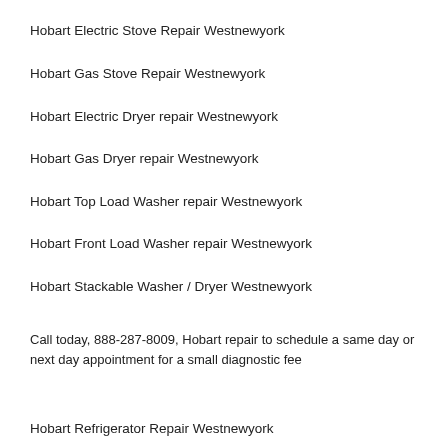Hobart Electric Stove Repair Westnewyork
Hobart Gas Stove Repair Westnewyork
Hobart Electric Dryer repair Westnewyork
Hobart Gas Dryer repair Westnewyork
Hobart Top Load Washer repair Westnewyork
Hobart Front Load Washer repair Westnewyork
Hobart Stackable Washer / Dryer Westnewyork
Call today, 888-287-8009, Hobart repair to schedule a same day or next day appointment for a small diagnostic fee
Hobart Refrigerator Repair Westnewyork